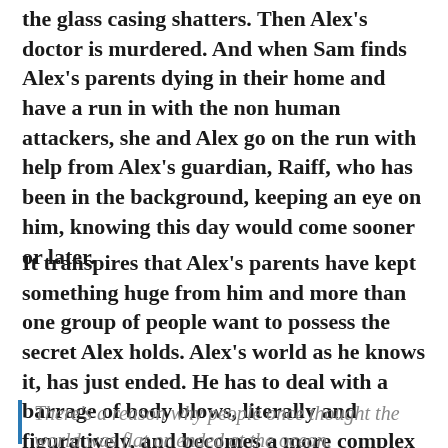the glass casing shatters. Then Alex's doctor is murdered. And when Sam finds Alex's parents dying in their home and have a run in with the non human attackers, she and Alex go on the run with help from Alex's guardian, Raiff, who has been in the background, keeping an eye on him, knowing this day would come sooner or later.
It transpires that Alex's parents have kept something huge from him and more than one group of people want to possess the secret Alex holds. Alex's world as he knows it, has just ended. He has to deal with a barrage of body blows, literally and figuratively, and becomes a more complex protagonist.
There's a reason why people once thought the world was flat or ended at the ocean.